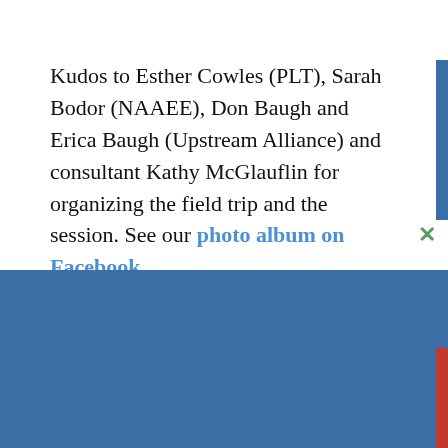Kudos to Esther Cowles (PLT), Sarah Bodor (NAAEE), Don Baugh and Erica Baugh (Upstream Alliance) and consultant Kathy McGlauflin for organizing the field trip and the session. See our photo album on Facebook.
SEEC is spreading the word that Title IV of the Every Student
[Figure (other): Blue promotional banner with yellow bold text 'NEW: 50 Hands-On Activities', a book cover for 'explore your ENVIRONMENT' K-8 activity guide, and white text 'Our new K-8 activity guide has everything you need to get']